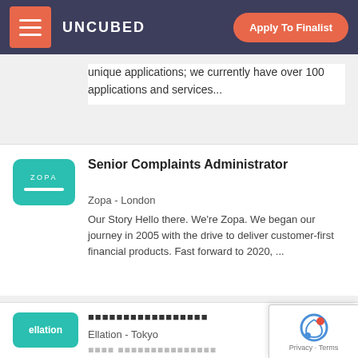UNCUBED  Apply To Finalist
unique applications; we currently have over 100 applications and services...
Senior Complaints Administrator
Zopa - London
Our Story Hello there. We're Zopa. We began our journey in 2005 with the drive to deliver customer-first financial products. Fast forward to 2020, ...
Ellation - Tokyo